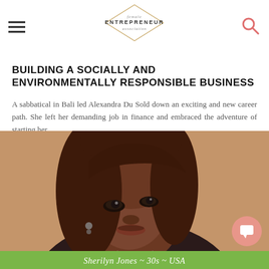female ENTREPRENEUR association
BUILDING A SOCIALLY AND ENVIRONMENTALLY RESPONSIBLE BUSINESS
A sabbatical in Bali led Alexandra Du Sold down an exciting and new career path. She left her demanding job in finance and embraced the adventure of starting her...
Read More
[Figure (photo): Portrait photo of Sherilyn Jones, a Black woman in her 30s from the USA, with long reddish-brown hair, wearing a dark top, looking slightly to the side. Green caption bar at bottom reads: Sherilyn Jones ~ 30s ~ USA]